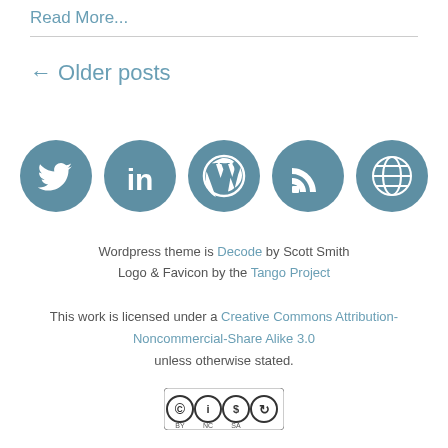Read More...
← Older posts
[Figure (illustration): Five circular social media/web icons in teal/steel blue: Twitter bird, LinkedIn 'in', WordPress 'W', RSS feed, globe/web icon]
Wordpress theme is Decode by Scott Smith
Logo & Favicon by the Tango Project
This work is licensed under a Creative Commons Attribution-Noncommercial-Share Alike 3.0 unless otherwise stated.
[Figure (logo): Creative Commons BY-NC-SA license badge image]